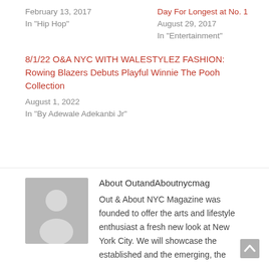February 13, 2017
In "Hip Hop"
Day For Longest at No. 1
August 29, 2017
In "Entertainment"
8/1/22 O&A NYC WITH WALESTYLEZ FASHION: Rowing Blazers Debuts Playful Winnie The Pooh Collection
August 1, 2022
In "By Adewale Adekanbi Jr"
About OutandAboutnycmag
Out & About NYC Magazine was founded to offer the arts and lifestyle enthusiast a fresh new look at New York City. We will showcase the established and the emerging, the